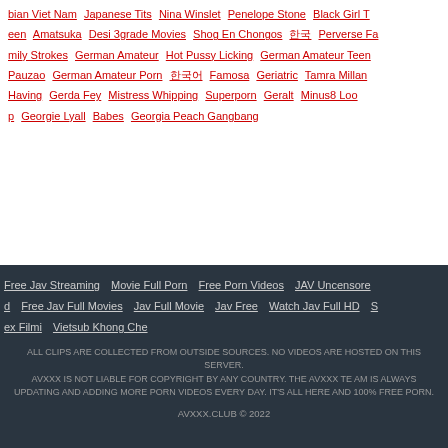bian Viet Nam   Japanese Tits   Nina Winslet   Penelope Stone   Black Girl Teen   Amatsuka   Desi 3grade Movies   Shog En Chongos   한국   Perverse Family Strokes   German Amateur   Hot Pussy Licking   German Amateur Teen   Pauzao   German Amateur Porn   한국어   Famosa   Geriatric   Tamra Millan   Having   Gerda Fey   Mistress Whipping   Superporn   Geralt   Minus8 Loop   Georgie Lyall   Babes   Georgia Peach Gangbang
Free Jav Streaming   Movie Full Porn   Free Porn Videos   JAV Uncensored   Free Jav Full Movies   Jav Full Movie   Jav Free   Watch Jav Full HD   Sex Filmi   Vietsub Khong Che
ALL CLIPS ARE COLLECTED FROM OUTSIDE SOURCES. NO VIDEOS ARE HOSTED ON THIS SERVER. AVXXX IS NOT LIABLE FOR COPYRIGHT BY ANY COUNTRY. THE AVXXX TEAM IS ALWAYS UPDATING AND ADDING MORE PORN VIDEOS EVERY DAY. IT'S ALL HERE AND 100% FREE PORN.
AVXXX.CLUB © 2022